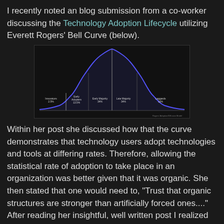I recently noted an blog submission from a co-worker discussing the Technology Adoption Lifecycle utilizing Everett Rogers' Bell Curve (below).
[Figure (continuous-plot): Everett Rogers' Technology Adoption Lifecycle Bell Curve chart. A bell curve drawn in blue/purple on a dark background, divided into segments labeled: Innovators 2.5%, Early Adopters 13.5%, Early Majority 34%, Late Majority 34%, Laggards 16%.]
Within her post she discussed how that the curve demonstrates that technology users adopt technologies and tools at differing rates. Therefore, allowing the statistical rate of adoption to take place in an organization was better given that it was organic. She then stated that one would need to, "Trust that organic structures are stronger than artificially forced ones...." After reading her insightful, well written post I realized that she was correct. Anything that is "artificial" has a high probability of not working within an organizational ecosystem, just as it would not in a natural ecosystem. I then replied to the post with this comment, hoping to increase that